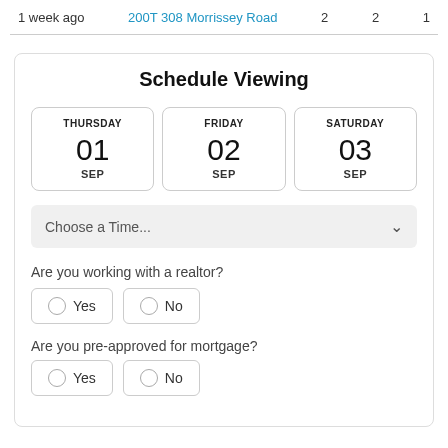1 week ago   200T 308 Morrissey Road   2   2   1
Schedule Viewing
THURSDAY 01 SEP
FRIDAY 02 SEP
SATURDAY 03 SEP
Choose a Time...
Are you working with a realtor?
Yes
No
Are you pre-approved for mortgage?
Yes
No